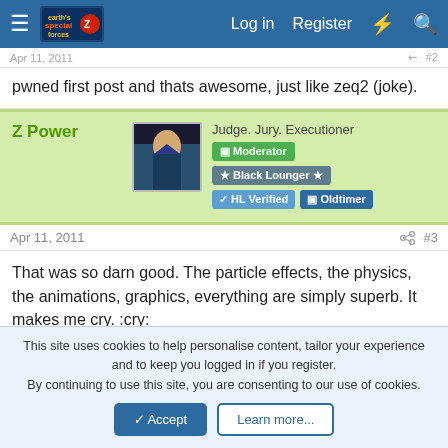Earth's Special Forces forum — Log in | Register
pwned first post and thats awesome, just like zeq2 (joke).
Z Power — Judge. Jury. Executioner — Moderator — ★ Black Lounger ★ — ✓ HL Verified — 🔲 Oldtimer
Apr 11, 2011 — #3
That was so darn good. The particle effects, the physics, the animations, graphics, everything are simply superb. It makes me cry. :cry:
This site uses cookies to help personalise content, tailor your experience and to keep you logged in if you register. By continuing to use this site, you are consenting to our use of cookies.